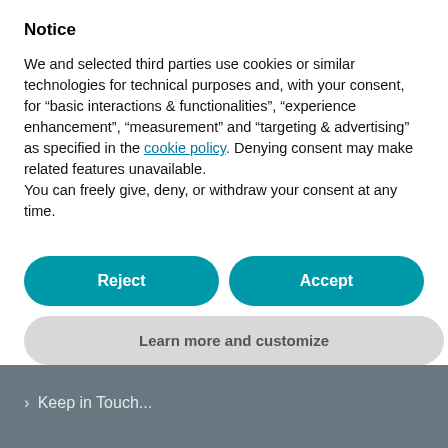Notice
We and selected third parties use cookies or similar technologies for technical purposes and, with your consent, for “basic interactions & functionalities”, “experience enhancement”, “measurement” and “targeting & advertising” as specified in the cookie policy. Denying consent may make related features unavailable.
You can freely give, deny, or withdraw your consent at any time.
Reject
Accept
Learn more and customize
Keep in Touch...
PRIVACY POLICY